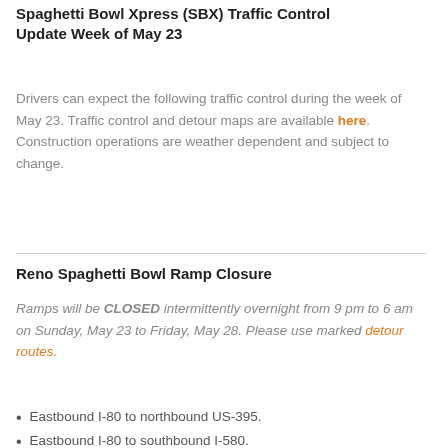Spaghetti Bowl Xpress (SBX) Traffic Control Update Week of May 23
Drivers can expect the following traffic control during the week of May 23. Traffic control and detour maps are available here. Construction operations are weather dependent and subject to change.
Reno Spaghetti Bowl Ramp Closure
Ramps will be CLOSED intermittently overnight from 9 pm to 6 am on Sunday, May 23 to Friday, May 28. Please use marked detour routes.
Eastbound I-80 to northbound US-395.
Eastbound I-80 to southbound I-580.